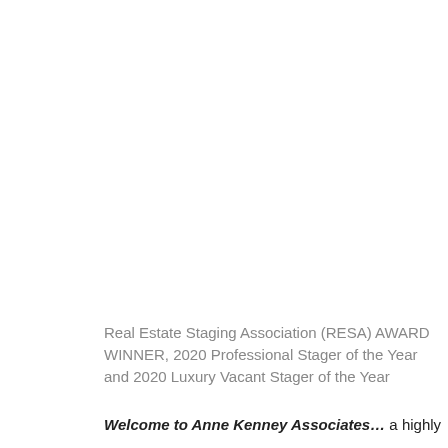Real Estate Staging Association (RESA) AWARD WINNER, 2020 Professional Stager of the Year and 2020 Luxury Vacant Stager of the Year
Welcome to Anne Kenney Associates… a highly